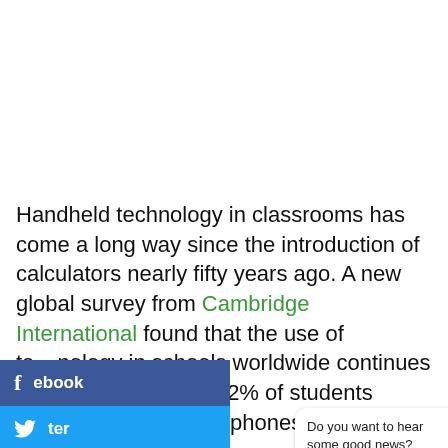Handheld technology in classrooms has come a long way since the introduction of calculators nearly fifty years ago. A new global survey from Cambridge International found that the use of technology in schools worldwide continues to rapidly, with 42% of students reporting use smartphones in the classroom and 20%
[Figure (screenshot): Facebook share button (blue bar) and Twitter share button (blue bar) overlaid on the left side of the page]
[Figure (screenshot): Cookie consent bar at bottom of page with close button, green G button, and kangaroo mascot icon with red notification badge showing '1'. Chat bubble overlay saying 'Do you want to hear some good news?']